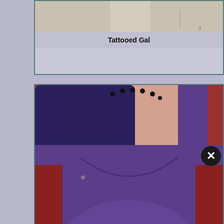[Figure (photo): Partial photo of tattooed person, top portion cropped]
Tattooed Gal
[Figure (photo): Woman with dark blue hair wearing a purple top, showing neck tattoos]
Hawt Aymee Secret Clip On 01/20/15 21:40 From
[Figure (photo): Partial photo of person on pink/lavender background, bottom of page]
[Figure (other): Close button (X) on right side of page]